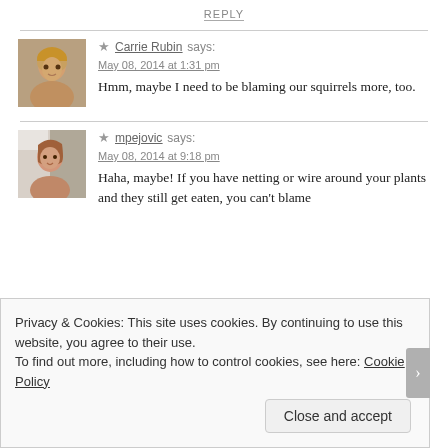REPLY
[Figure (photo): Avatar photo of Carrie Rubin, a woman with blonde hair smiling]
★ Carrie Rubin says:
May 08, 2014 at 1:31 pm
Hmm, maybe I need to be blaming our squirrels more, too.
[Figure (photo): Avatar photo of mpejovic, a woman with brown hair smiling]
★ mpejovic says:
May 08, 2014 at 9:18 pm
Haha, maybe! If you have netting or wire around your plants and they still get eaten, you can't blame
Privacy & Cookies: This site uses cookies. By continuing to use this website, you agree to their use.
To find out more, including how to control cookies, see here: Cookie Policy
Close and accept